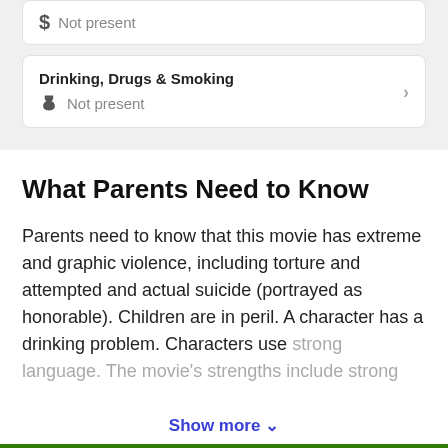$ Not present
Drinking, Drugs & Smoking
🍷 Not present
What Parents Need to Know
Parents need to know that this movie has extreme and graphic violence, including torture and attempted and actual suicide (portrayed as honorable). Children are in peril. A character has a drinking problem. Characters use strong language. The movie's strengths include strong
Show more ∨
Save   Rate movie   Watch or buy